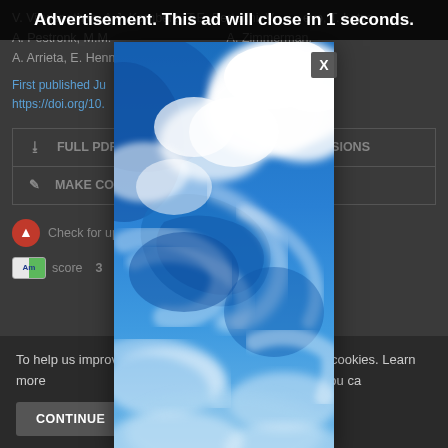Advertisement. This ad will close in 1 seconds.
V. Viswanathan, A.J. Kornberg, T.E. Bertorini, V. evo, T. Lotze, A. Pestronk, M.M. A. Zimmerman, A. Arrieta, E. Henno Hu, A.M. Connolly
First published Ju https://doi.org/10. b164
FULL PDF
PERMISSIONS
MAKE CO COMMENTS
Check for updat
Am score 3
To help us improve y is website uses cookies. Learn more your settings in our Cookie Policy. You ca
CONTINUE
FIN
[Figure (photo): Blue sky with white swirling clouds — advertisement overlay image]